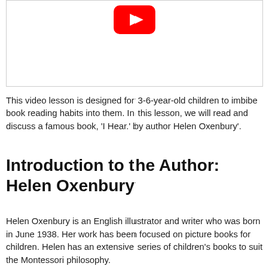[Figure (screenshot): YouTube video player thumbnail area with YouTube play button icon (red rounded rectangle with white triangle) on white background]
This video lesson is designed for 3-6-year-old children to imbibe book reading habits into them. In this lesson, we will read and discuss a famous book, 'I Hear.' by author Helen Oxenbury'.
Introduction to the Author: Helen Oxenbury
Helen Oxenbury is an English illustrator and writer who was born in June 1938. Her work has been focused on picture books for children. Helen has an extensive series of children's books to suit the Montessori philosophy.